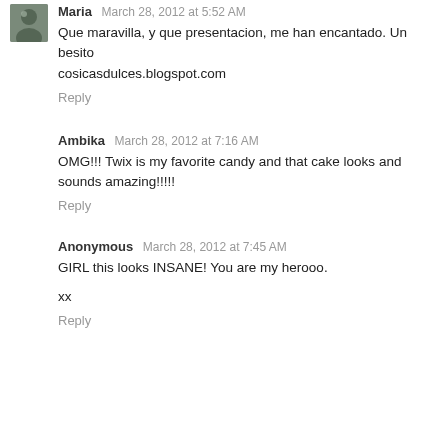Maria  March 28, 2012 at 5:52 AM
Que maravilla, y que presentacion, me han encantado. Un besito
cosicasdulces.blogspot.com
Reply
Ambika  March 28, 2012 at 7:16 AM
OMG!!! Twix is my favorite candy and that cake looks and sounds amazing!!!!!
Reply
Anonymous  March 28, 2012 at 7:45 AM
GIRL this looks INSANE! You are my herooo.

xx
Reply